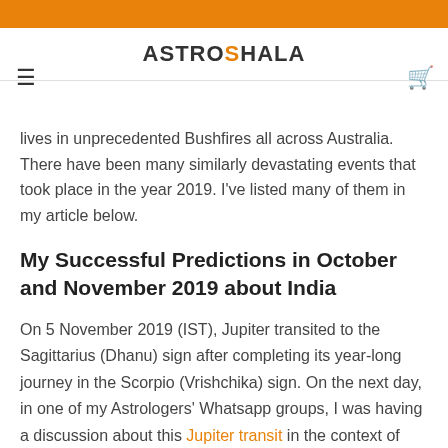ASTROSHALA
starting September 2019 till late January 2020, where many people and millions of animals, birds, etc. lost their lives in unprecedented Bushfires all across Australia. There have been many similarly devastating events that took place in the year 2019. I've listed many of them in my article below.
My Successful Predictions in October and November 2019 about India
On 5 November 2019 (IST), Jupiter transited to the Sagittarius (Dhanu) sign after completing its year-long journey in the Scorpio (Vrishchika) sign. On the next day, in one of my Astrologers' Whatsapp groups, I was having a discussion about this Jupiter transit in the context of India. And within the next 2.5 months i.e., January 2020, Saturn was to enter its own sign Capricorn (Makar) after completing its journey of 2.5 years in the Sagittarius Sign.